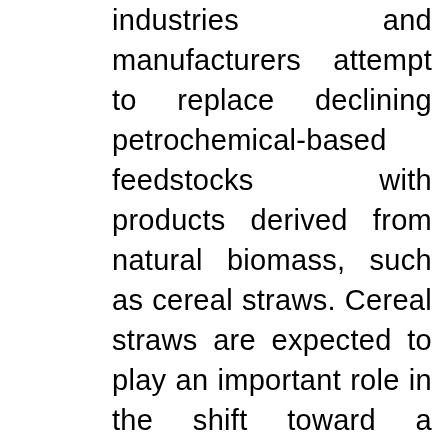industries and manufacturers attempt to replace declining petrochemical-based feedstocks with products derived from natural biomass, such as cereal straws. Cereal straws are expected to play an important role in the shift toward a sustainable economy, and a basic knowledge of the composition and structure of cereal straw is the key to using it wisely. Cereal Straw as a Resource for Sustainable Biomaterials and Biofuels: Chemistry, Extractives, Lignins, Hemicelluloses and Cellulose provides an introduction to straw chemistry. Topics discussed include the structure, ultrastructure, and chemical composition of straw; the structure and isolation of extractives from the straw; the three main components of straw: cellulose, hemicelluloses, and lignins; and chemical modifications of straw for industrial